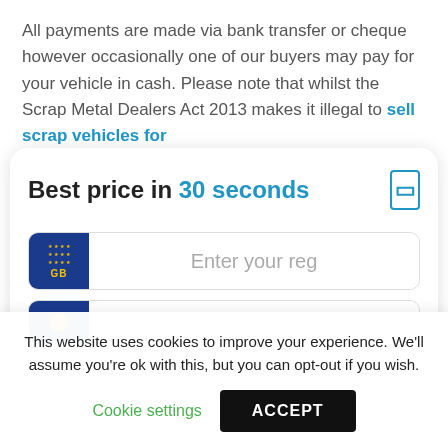All payments are made via bank transfer or cheque however occasionally one of our buyers may pay for your vehicle in cash. Please note that whilst the Scrap Metal Dealers Act 2013 makes it illegal to sell scrap vehicles for
[Figure (screenshot): A web widget card titled 'Best price in 30 seconds' with a UK vehicle registration input field showing a GB badge with EU stars and placeholder text 'Enter your reg', and a second partially visible input row below.]
This website uses cookies to improve your experience. We'll assume you're ok with this, but you can opt-out if you wish.
Cookie settings   ACCEPT